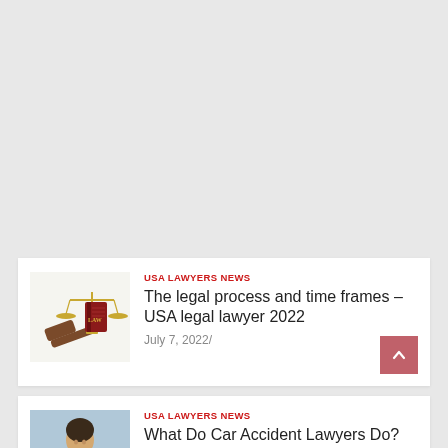[Figure (illustration): Legal scales of justice, law book labeled LAW, and wooden gavel illustration]
USA LAWYERS NEWS
The legal process and time frames – USA legal lawyer 2022
July 7, 2022/
[Figure (photo): Photo of a person outdoors, partially visible]
USA LAWYERS NEWS
What Do Car Accident Lawyers Do?